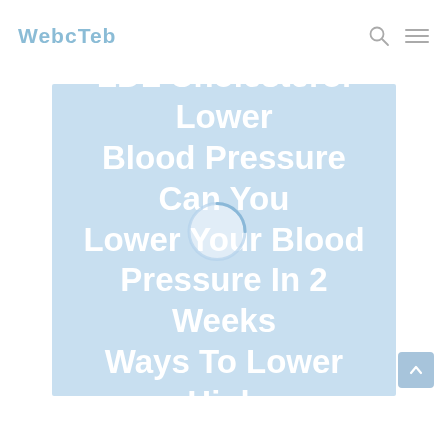WebcTeb
Does Lowering | [CVS] LDL Cholesterol Lower Blood Pressure Can You Lower Your Blood Pressure In 2 Weeks Ways To Lower High Blood Pressure Fast
[Figure (other): Circular spinner/loading indicator overlaid on hero banner]